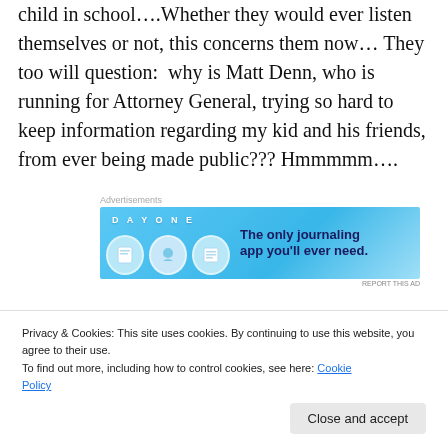child in school....Whether they would ever listen themselves or not, this concerns them now… They too will question:  why is Matt Denn, who is running for Attorney General, trying so hard to keep information regarding my kid and his friends, from ever being made public??? Hmmmmm….
[Figure (screenshot): Advertisement banner for Day One journaling app with blue background, showing app icons and text 'The only journaling app you'll ever need.']
Seriously, this blemishes his entire pro-family, image he…
Privacy & Cookies: This site uses cookies. By continuing to use this website, you agree to their use.
To find out more, including how to control cookies, see here: Cookie Policy
Close and accept
Sponsored Content